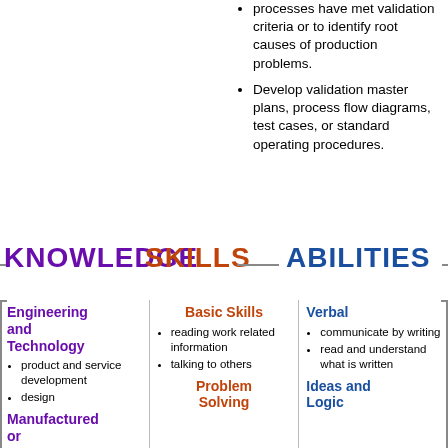processes have met validation criteria or to identify root causes of production problems.
Develop validation master plans, process flow diagrams, test cases, or standard operating procedures.
KNOWLEDGE SKILLS
ABILITIES
Engineering and Technology
product and service development
design
Manufactured or
Basic Skills
reading work related information
talking to others
Problem Solving
Verbal
communicate by writing
read and understand what is written
Ideas and Logic